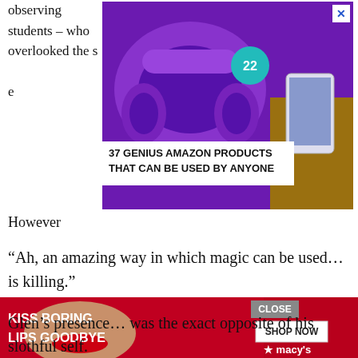observing students – who overlooked the s e
[Figure (screenshot): Advertisement banner showing purple headphones with text '37 GENIUS AMAZON PRODUCTS THAT CAN BE USED BY ANYONE' on white background, with teal badge showing '22', close button (X) in top right corner]
However
“Ah, an amazing way in which magic can be used… is killing.”
Seeing Glen’s cold and emotionless eyes, and hearing the brutal argument that made itself known through his crooked lips, the students all froze in fear.
Glen’s presence… was the exact opposite of his slothful self.
[Figure (screenshot): Advertisement banner with red background showing 'KISS BORING LIPS GOODBYE' text, a woman's face with red lipstick, 'SHOP NOW' button, and Macy's star logo. CLOSE button in gray.]